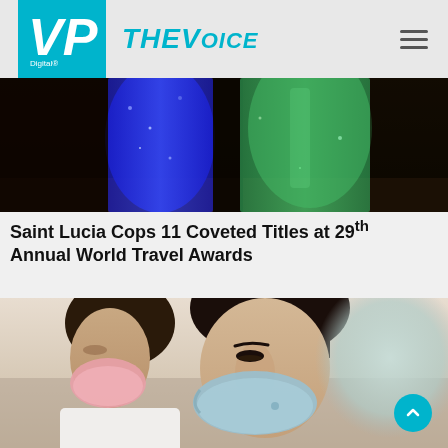VP Digital – THE VOICE
[Figure (photo): Colorful formal gowns and dresses hanging or displayed, with blue sequined and green satin dresses visible, in a dimly lit venue setting]
Saint Lucia Cops 11 Coveted Titles at 29th Annual World Travel Awards
[Figure (photo): Two women wearing face masks looking downward. One in a pink mask and white blouse, the other in a light blue fitted face mask. A blurred figure in the foreground right.]